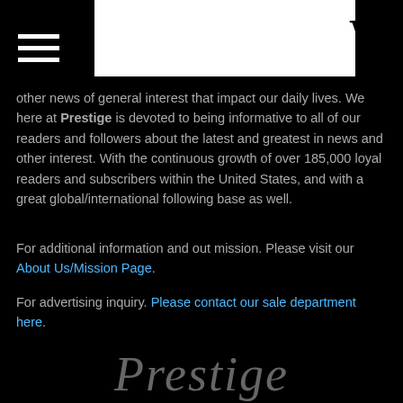W
other news of general interest that impact our daily lives. We here at Prestige is devoted to being informative to all of our readers and followers about the latest and greatest in news and other interest. With the continuous growth of over 185,000 loyal readers and subscribers within the United States, and with a great global/international following base as well.
For additional information and out mission. Please visit our About Us/Mission Page.
For advertising inquiry. Please contact our sale department here.
Tel: 1-888-811-0691
Mail: info@prestigecelebritymagazine.com
[Figure (logo): Prestige magazine cursive/script logo in dark gray at the bottom of the page]